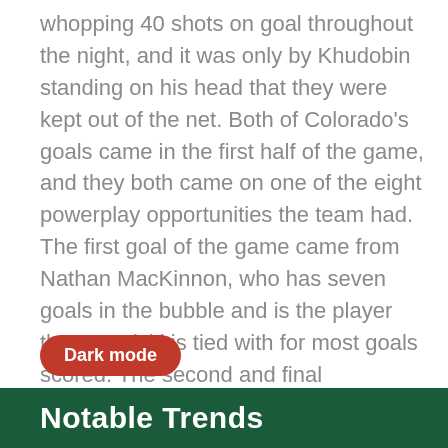whopping 40 shots on goal throughout the night, and it was only by Khudobin standing on his head that they were kept out of the net. Both of Colorado's goals came in the first half of the game, and they both came on one of the eight powerplay opportunities the team had. The first goal of the game came from Nathan MacKinnon, who has seven goals in the bubble and is the player that Pavelski is tied with for most goals scored. The second and final Avalanche goal in game two came from Mikko Rantanen, who has four goals in the postseason. Replacing Philipp Grubauer in net was Pavel Francouz. Francouz has started three games and played in four so far in the postseason and has a record of 1-3. In game two, he faced 26 shots and stopped 22 of them. Out of those 22 saves, 7 of them were shorthanded. He had a save percentage of .846.
Dark mode
Notable Trends